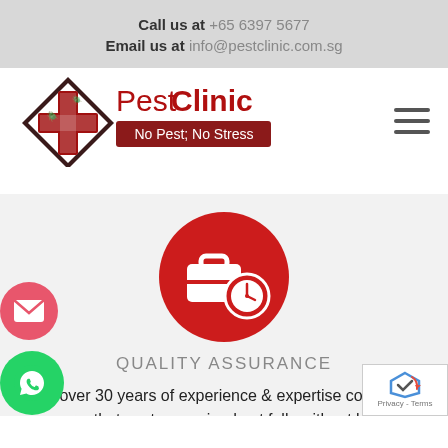Call us at +65 6397 5677
Email us at info@pestclinic.com.sg
[Figure (logo): PestClinic logo with red diamond shape containing a cross and pest icons, tagline 'No Pest; No Stress']
[Figure (icon): Red circle with white briefcase and clock icon representing Quality Assurance service]
QUALITY ASSURANCE
over 30 years of experience & expertise combi... assure that pests are wiped out fully without leaving...